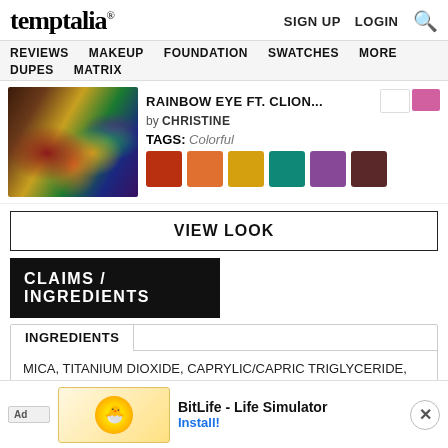temptalia® | SIGN UP  LOGIN  🔍
REVIEWS  MAKEUP  FOUNDATION  SWATCHES  MORE  DUPES  MATRIX
[Figure (photo): Close-up of a rainbow eye makeup look with colorful eyeshadow]
RAINBOW EYE FT. CLION... by CHRISTINE
TAGS: Colorful
VIEW LOOK
CLAIMS / INGREDIENTS
INGREDIENTS
MICA, TITANIUM DIOXIDE, CAPRYLIC/CAPRIC TRIGLYCERIDE, DIMETHICONE, ISOPROPYL MYRISTATE, CHROMIUM OXIDE GREENS, ... UM STEAR...
[Figure (screenshot): Ad banner for BitLife - Life Simulator mobile game with Install button]